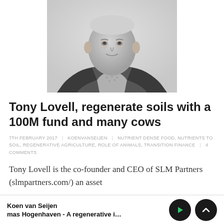[Figure (photo): Black and white portrait photo of Tony Lovell, a middle-aged man in a suit jacket and checkered shirt, photographed from mid-torso up against a light background.]
Tony Lovell, regenerate soils with a 100M fund and many cows
7TH FEBRUARY 2017 | KOENVANSEIJEN | NUTRIENT DENSE FOOD, NUTRIENTS TO SOIL, REGENERATIVE AGRICULTURE, ROLE OF ANIMALS, TRANSITION FINANCE | 4 COMMENTS
Tony Lovell is the co-founder and CEO of SLM Partners (slmpartners.com/) an asset
Koen van Seijen | mas Hogenhaven - A regenerative investment